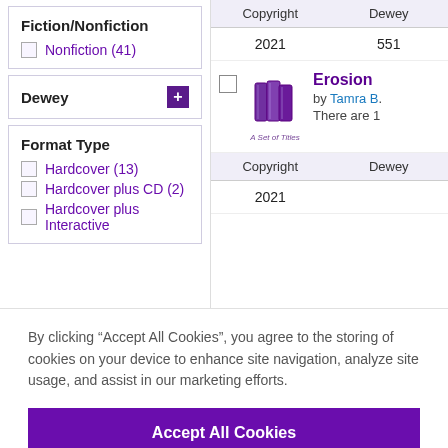Fiction/Nonfiction
Nonfiction (41)
Dewey
Format Type
Hardcover (13)
Hardcover plus CD (2)
Hardcover plus Interactive
| Copyright | Dewey |
| --- | --- |
| 2021 | 551 |
[Figure (illustration): Purple stack of books icon labeled 'A Set of Titles']
Erosion
by Tamra B.
There are 1
| Copyright | Dewey |
| --- | --- |
| 2021 |  |
By clicking “Accept All Cookies”, you agree to the storing of cookies on your device to enhance site navigation, analyze site usage, and assist in our marketing efforts.
Accept All Cookies
Cookies Settings